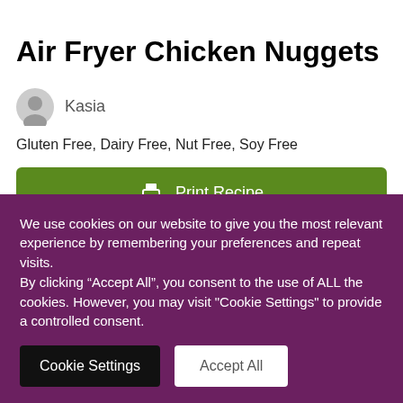Air Fryer Chicken Nuggets
Kasia
Gluten Free, Dairy Free, Nut Free, Soy Free
Print Recipe
Pin Recipe
We use cookies on our website to give you the most relevant experience by remembering your preferences and repeat visits.
By clicking “Accept All”, you consent to the use of ALL the cookies. However, you may visit "Cookie Settings" to provide a controlled consent.
Cookie Settings
Accept All